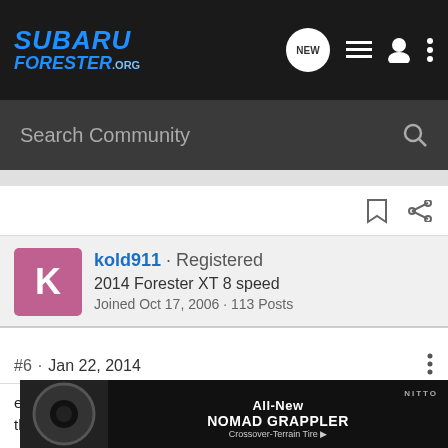SUBARU FORESTER.org — NEW [icons]
Search Community
kold911 · Registered
2014 Forester XT 8 speed
Joined Oct 17, 2006 · 113 Posts
#6 · Jan 22, 2014
even if you manage to figure out a way to lay the bike down on the roof rack, you still won't fit into a standard garage door (7'), unless you loosen the headset and twist it 90deg.
I think y... igher quality h... ks, and...
[Figure (screenshot): Advertisement banner for Nitto All-New Nomad Grappler Crossover-Terrain Tire]